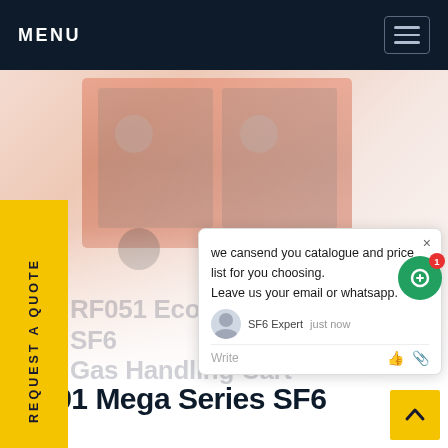MENU
[Figure (photo): SF6 gas handling cart equipment — orange/red industrial equipment with gauges, wheels, and hoses, shown faded/washed out]
REQUEST A QUOTE
[Figure (screenshot): Chat popup with message: we cansend you catalogue and price list for you choosing. Leave us your email or whatsapp. SF6 Expert just now. Write.]
RF051 Economy Series SF6 Gas Handling Cart
RF391 Mega Series SF6 Gas